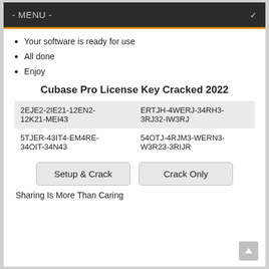- MENU -
Your software is ready for use
All done
Enjoy
Cubase Pro License Key Cracked 2022
| 2EJE2-2IE21-12EN2-12K21-MEI43 | ERTJH-4WERJ-34RH3-3RJ32-IW3RJ |
| 5TJER-43IT4-EM4RE-34OIT-34N43 | 54OTJ-4RJM3-WERN3-W3R23-3RIJR |
Setup & Crack
Crack Only
Sharing Is More Than Caring